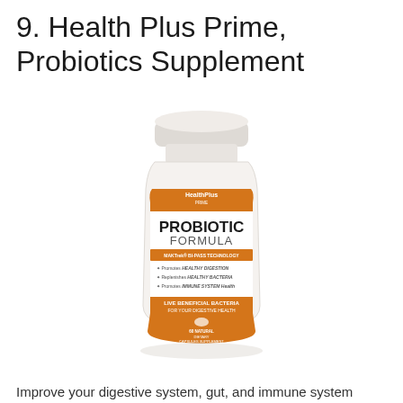9. Health Plus Prime, Probiotics Supplement
[Figure (photo): A white supplement bottle with orange label reading 'Health Plus Prime Probiotic Formula' with MAKTrek Bi-Pass Technology. Label mentions: Promotes Healthy Digestion, Replenishes Healthy Bacteria, Promotes Immune System Health. Live Beneficial Bacteria For Your Digestive Health. 60 Natural Dietary Capsules Supplement.]
Improve your digestive system, gut, and immune system